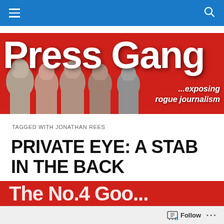Navigation bar with hamburger menu and search icon
[Figure (illustration): Press Gang blog banner — red background with large white bold text 'Press Gang' and italic tagline '...exposing rogue journalism', with photographic silhouettes of several people across the bottom.]
TAGGED WITH JONATHAN REES
PRIVATE EYE: A STAB IN THE BACK
[Figure (photo): Partial red banner image visible at the bottom of the page, showing the beginning of large white text.]
Follow